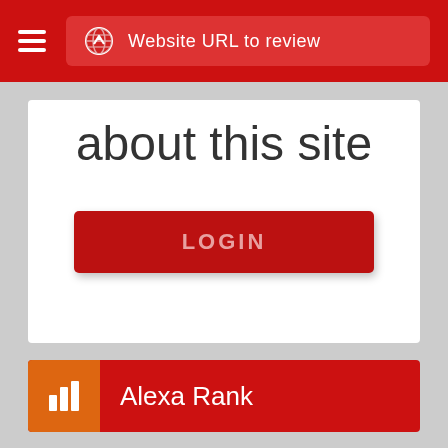Website URL to review
about this site
LOGIN
Alexa Rank